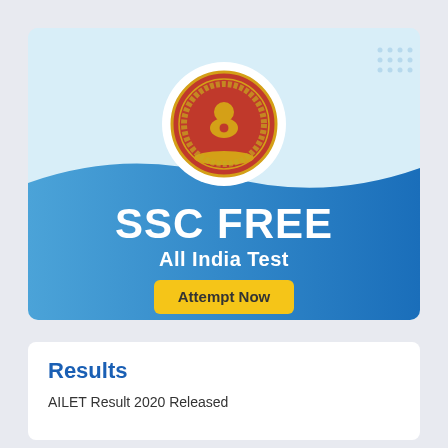[Figure (illustration): SSC Free All India Test promotional banner with SSC emblem logo at top center, blue gradient wave background, large white bold text 'SSC FREE', subtitle 'All India Test', and a yellow 'Attempt Now' button. Light blue background with decorative dot patterns at corners.]
Results
AILET Result 2020 Released